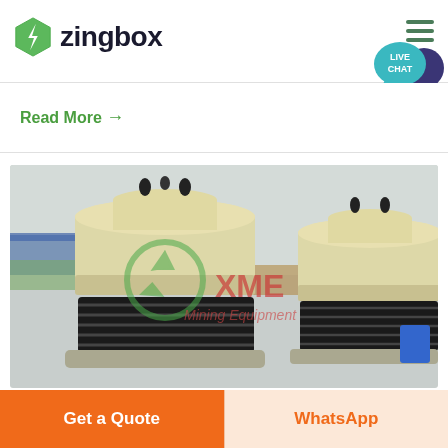[Figure (logo): Zingbox logo with green hexagonal lightning bolt icon and bold text 'zingbox']
Read More →
[Figure (photo): Industrial cone crushers (XME Mining Equipment) with cream/beige cylindrical tops, black spring bases, outdoors at a mining site]
Get a Quote
WhatsApp